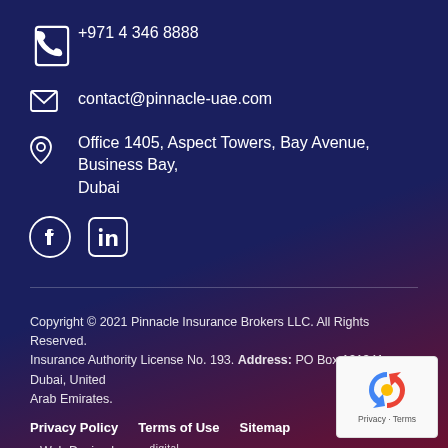+971 4 346 8888
contact@pinnacle-uae.com
Office 1405, Aspect Towers, Bay Avenue, Business Bay, Dubai
[Figure (logo): Facebook and LinkedIn social media icons in white on dark blue background]
Copyright © 2021 Pinnacle Insurance Brokers LLC. All Rights Reserved. Insurance Authority License No. 193. Address: PO Box 121341, Dubai, United Arab Emirates.
Privacy Policy   Terms of Use   Sitemap
Web Design by me-digital